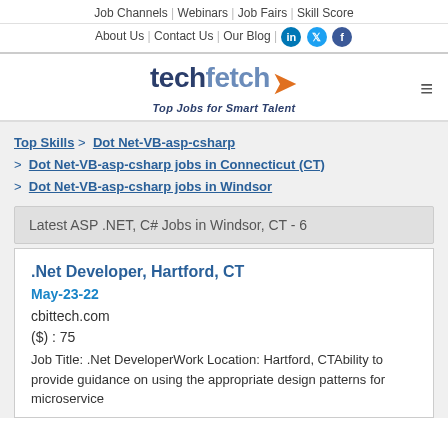Job Channels | Webinars | Job Fairs | Skill Score
About Us | Contact Us | Our Blog
[Figure (logo): techfetch logo with orange arrow and tagline 'Top Jobs for Smart Talent']
Top Skills > Dot Net-VB-asp-csharp > Dot Net-VB-asp-csharp jobs in Connecticut (CT) > Dot Net-VB-asp-csharp jobs in Windsor
Latest ASP .NET, C# Jobs in Windsor, CT - 6
.Net Developer, Hartford, CT
May-23-22
cbittech.com
($) : 75
Job Title: .Net DeveloperWork Location: Hartford, CTAbility to provide guidance on using the appropriate design patterns for microservice